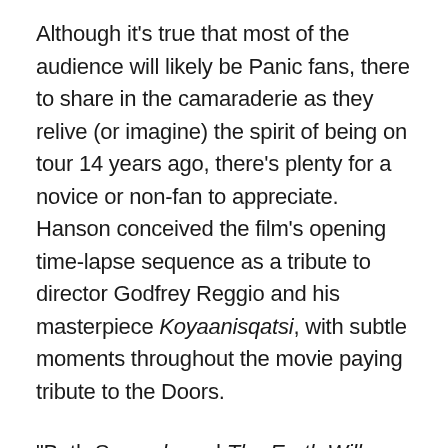Although it's true that most of the audience will likely be Panic fans, there to share in the camaraderie as they relive (or imagine) the spirit of being on tour 14 years ago, there's plenty for a novice or non-fan to appreciate. Hanson conceived the film's opening time-lapse sequence as a tribute to director Godfrey Reggio and his masterpiece Koyaanisqatsi, with subtle moments throughout the movie paying tribute to the Doors.
“Both Scrapple and The Earth Will Swallow You were made for multiple viewings,” he says, citing films like Caddyshack that he watched over and over in his youth. “We knew we had to write things that people would say over and over and make the